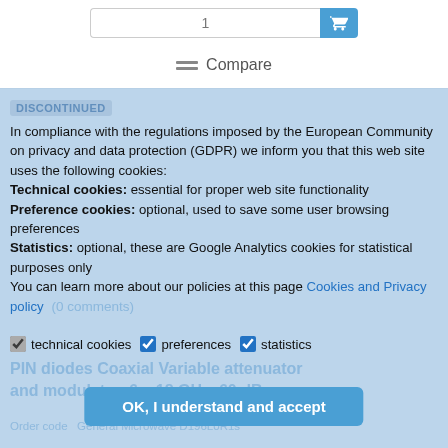[Figure (screenshot): Input field with quantity 1 and blue cart/add button]
Compare
DISCONTINUED
In compliance with the regulations imposed by the European Community on privacy and data protection (GDPR) we inform you that this web site uses the following cookies: Technical cookies: essential for proper web site functionality Preference cookies: optional, used to save some user browsing preferences Statistics: optional, these are Google Analytics cookies for statistical purposes only You can learn more about our policies at this page Cookies and Privacy policy (0 comments)
technical cookies   preferences   statistics
PIN diodes Coaxial Variable attenuator and modulator, 6 – 18 GHz, 60 dB
Order code   General Microwave D196L0R1s
OK, I understand and accept